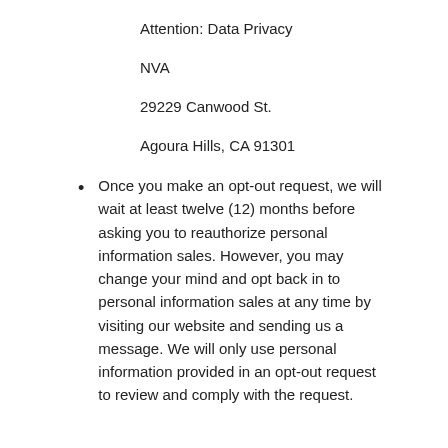Attention: Data Privacy
NVA
29229 Canwood St.
Agoura Hills, CA 91301
Once you make an opt-out request, we will wait at least twelve (12) months before asking you to reauthorize personal information sales. However, you may change your mind and opt back in to personal information sales at any time by visiting our website and sending us a message. We will only use personal information provided in an opt-out request to review and comply with the request.